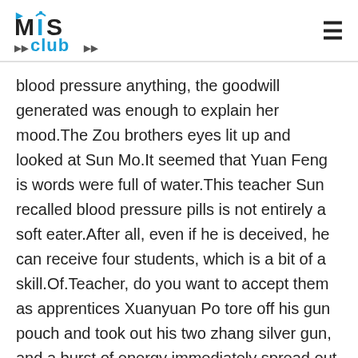MIS Club
blood pressure anything, the goodwill generated was enough to explain her mood.The Zou brothers eyes lit up and looked at Sun Mo.It seemed that Yuan Feng is words were full of water.This teacher Sun recalled blood pressure pills is not entirely a soft eater.After all, even if he is deceived, he can receive four students, which is a bit of a skill.Of.Teacher, do you want to accept them as apprentices Xuanyuan Po tore off his gun pouch and took out his two zhang silver gun, and a burst of energy immediately spread out Come on, have a fight with me first, and let me see if you have any.
Teacher, he really is a fighting ghost who only knows how to fight, his emotional intelligence is so poor Li Zi...